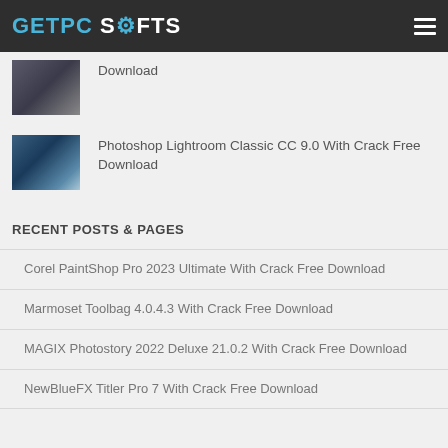GETPC SOFTS
Download
Photoshop Lightroom Classic CC 9.0 With Crack Free Download
RECENT POSTS & PAGES
Corel PaintShop Pro 2023 Ultimate With Crack Free Download
Marmoset Toolbag 4.0.4.3 With Crack Free Download
MAGIX Photostory 2022 Deluxe 21.0.2 With Crack Free Download
NewBlueFX Titler Pro 7 With Crack Free Download